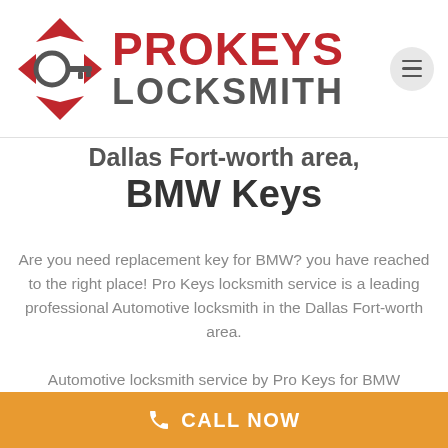[Figure (logo): Pro Keys Locksmith logo with key icon in red diamond shape and company name]
Dallas Fort-worth area, BMW Keys
Are you need replacement key for BMW? you have reached to the right place! Pro Keys locksmith service is a leading professional Automotive locksmith in the Dallas Fort-worth area.
Automotive locksmith service by Pro Keys for BMW includes extensive locksmith services of key making and key replacement for BMW models as well, all automotive emergency locksmith services for most
CALL NOW